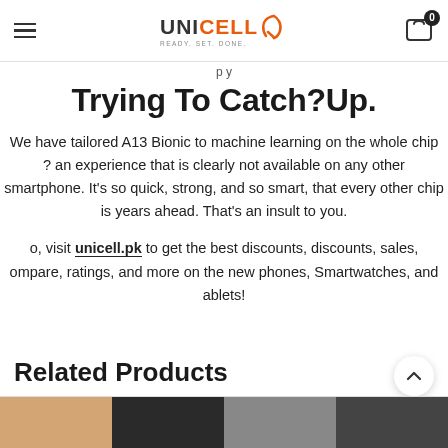UNICELL — READY. SET. DONE.
Trying To Catch?Up.
We have tailored A13 Bionic to machine learning on the whole chip? an experience that is clearly not available on any other smartphone. It's so quick, strong, and so smart, that every other chip is years ahead. That's an insult to you.
So, visit unicell.pk to get the best discounts, discounts, sales, compare, ratings, and more on the new phones, Smartwatches, and tablets!
Related Products
[Figure (photo): Product thumbnails strip at the bottom of the page showing four smartphone/device images]